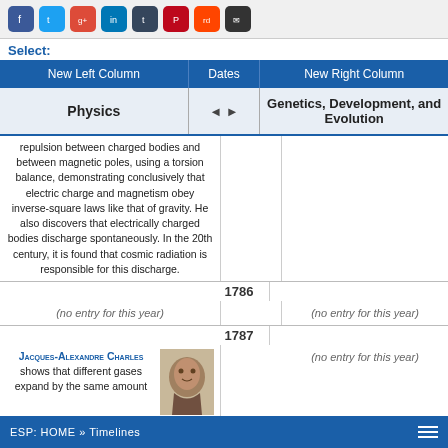Social share icons: Facebook, Twitter, Google+, LinkedIn, Tumblr, Pinterest, Reddit, Email
Select:
| New Left Column | Dates | New Right Column |
| --- | --- | --- |
| Physics | ◄ ► | Genetics, Development, and Evolution |
repulsion between charged bodies and between magnetic poles, using a torsion balance, demonstrating conclusively that electric charge and magnetism obey inverse-square laws like that of gravity. He also discovers that electrically charged bodies discharge spontaneously. In the 20th century, it is found that cosmic radiation is responsible for this discharge.
1786
(no entry for this year)
(no entry for this year)
1787
Jacques-Alexandre Charles shows that different gases expand by the same amount
(no entry for this year)
ESP: HOME » Timelines